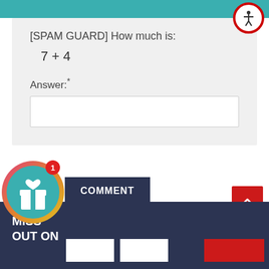[SPAM GUARD] How much is:
7 + 4
Answer:*
[Figure (illustration): Gift box icon inside circular gradient border (pink/orange to teal), with a red notification badge showing '1']
COMMENT
[Figure (illustration): Red square button with white double chevron/arrow pointing up]
DON'T MISS OUT ON
[Figure (illustration): Accessibility icon: person in circle, red border, white background]